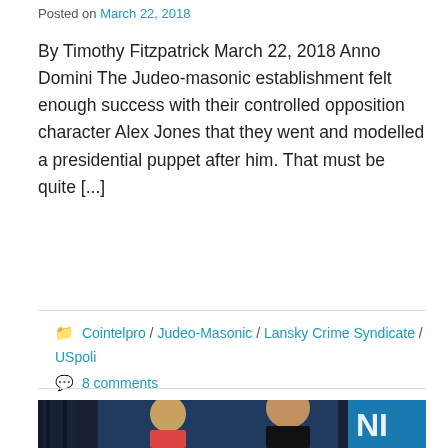Posted on March 22, 2018
By Timothy Fitzpatrick March 22, 2018 Anno Domini The Judeo-masonic establishment felt enough success with their controlled opposition character Alex Jones that they went and modelled a presidential puppet after him. That must be quite [...]
READ MORE
Cointelpro / Judeo-Masonic / Lansky Crime Syndicate / USpoli
8 comments
[Figure (photo): Two men on a TV set, one blonde and one with a beard wearing a black shirt, with a blue studio backdrop and a partial logo visible.]